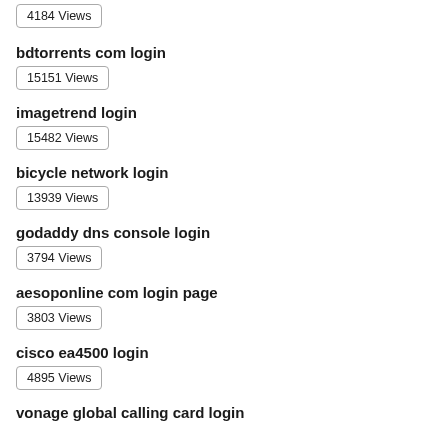4184 Views
bdtorrents com login
15151 Views
imagetrend login
15482 Views
bicycle network login
13939 Views
godaddy dns console login
3794 Views
aesoponline com login page
3803 Views
cisco ea4500 login
4895 Views
vonage global calling card login